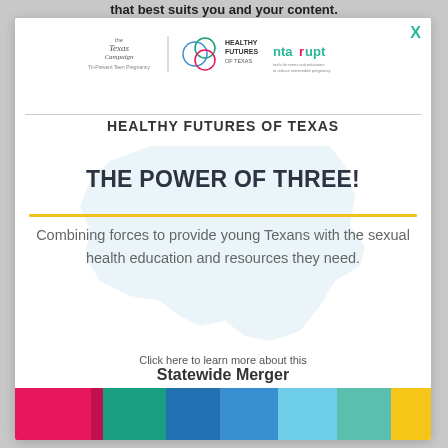that best suits you and your content.
[Figure (logo): Logos for The Texas Campaign, Healthy Futures of Texas, and ntarupt organizations]
HEALTHY FUTURES OF TEXAS
THE POWER OF THREE!
Combining forces to provide young Texans with the sexual health education and resources they need.
Click here to learn more about this Statewide Merger
[Figure (infographic): Horizontal color bar strip with segments in pink/magenta, teal, blue, light blue, sage green, and gold/yellow]